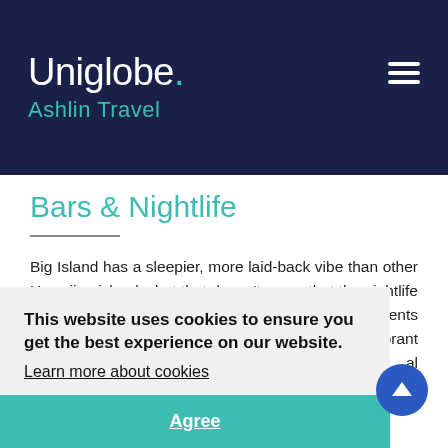Uniglobe. Ashlin Travel
Bars & Nightlife
Big Island has a sleepier, more laid-back vibe than other Hawaiian islands, but that doesn't mean that the nightlife is dead. The resorts host night-time activities and events to ... ling bars can be ... e and vibrant in ... some of which ... e is always live ... al specialt... the ... e the m... nd dances of the island, accompanied by fine food and finer company.
This website uses cookies to ensure you get the best experience on our website. Learn more about cookies
Agree